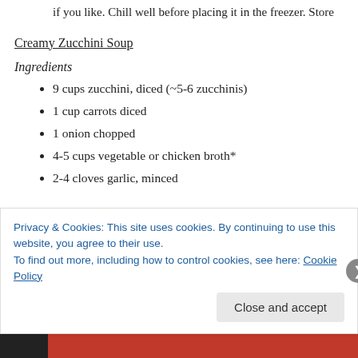if you like. Chill well before placing it in the freezer. Store
Creamy Zucchini Soup
Ingredients
9 cups zucchini, diced (~5-6 zucchinis)
1 cup carrots diced
1 onion chopped
4-5 cups vegetable or chicken broth*
2-4 cloves garlic, minced
Privacy & Cookies: This site uses cookies. By continuing to use this website, you agree to their use.
To find out more, including how to control cookies, see here: Cookie Policy